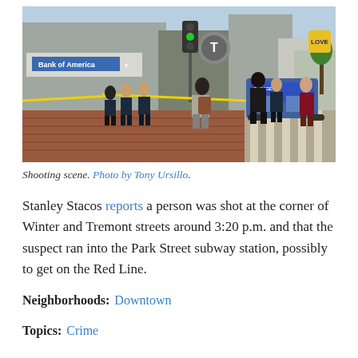[Figure (photo): Outdoor street scene showing police officers gathered on a brick sidewalk near the corner of Winter and Tremont streets. Yellow crime scene tape is visible. A Bank of America sign and a green traffic light are in the background. A person with a backpack is seen in the foreground.]
Shooting scene. Photo by Tony Ursillo.
Stanley Stacos reports a person was shot at the corner of Winter and Tremont streets around 3:20 p.m. and that the suspect ran into the Park Street subway station, possibly to get on the Red Line.
Neighborhoods: Downtown
Topics: Crime